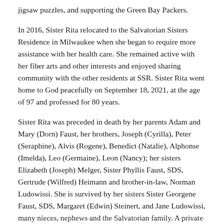jigsaw puzzles, and supporting the Green Bay Packers.
In 2016, Sister Rita relocated to the Salvatorian Sisters Residence in Milwaukee when she began to require more assistance with her health care. She remained active with her fiber arts and other interests and enjoyed sharing community with the other residents at SSR. Sister Rita went home to God peacefully on September 18, 2021, at the age of 97 and professed for 80 years.
Sister Rita was preceded in death by her parents Adam and Mary (Dorn) Faust, her brothers, Joseph (Cyrilla), Peter (Seraphine), Alvis (Rogene), Benedict (Natalie), Alphonse (Imelda), Leo (Germaine), Leon (Nancy); her sisters Elizabeth (Joseph) Melger, Sister Phyllis Faust, SDS, Gertrude (Wilfred) Heimann and brother-in-law, Norman Ludowissi. She is survived by her sisters Sister Georgene Faust, SDS, Margaret (Edwin) Steinert, and Jane Ludowissi, many nieces, nephews and the Salvatorian family. A private memorial Mass was held.